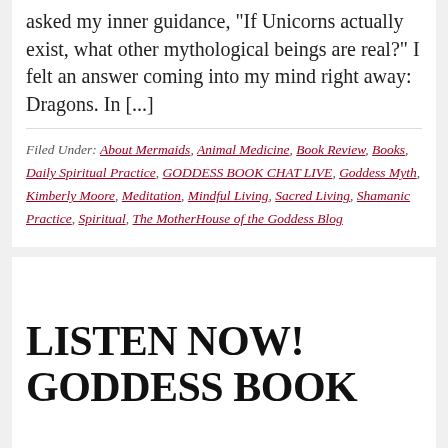asked my inner guidance, "If Unicorns actually exist, what other mythological beings are real?" I felt an answer coming into my mind right away: Dragons. In [...]
Filed Under: About Mermaids, Animal Medicine, Book Review, Books, Daily Spiritual Practice, GODDESS BOOK CHAT LIVE, Goddess Myth, Kimberly Moore, Meditation, Mindful Living, Sacred Living, Shamanic Practice, Spiritual, The MotherHouse of the Goddess Blog
LISTEN NOW! GODDESS BOOK